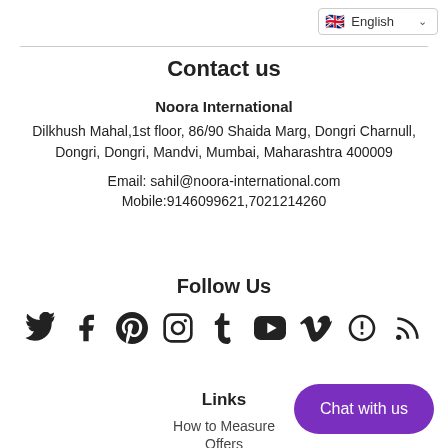English
Contact us
Noora International
Dilkhush Mahal,1st floor, 86/90 Shaida Marg, Dongri Charnull, Dongri, Dongri, Mandvi, Mumbai, Maharashtra 400009
Email: sahil@noora-international.com
Mobile:9146099621,7021214260
Follow Us
[Figure (infographic): Row of 9 social media icons: Twitter, Facebook, Pinterest, Instagram, Tumblr, YouTube, Vimeo, Goodreads/Patreon, RSS]
Links
How to Measure
Offers
Chat with us